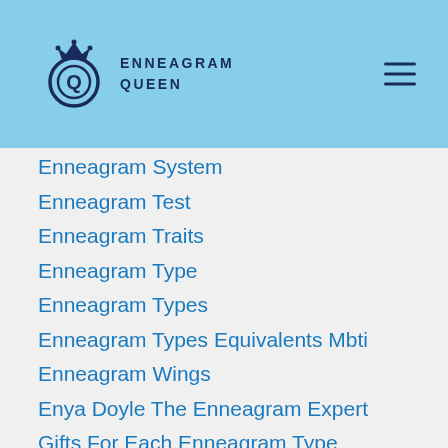Enneagram Queen
Enneagram System
Enneagram Test
Enneagram Traits
Enneagram Type
Enneagram Types
Enneagram Types Equivalents Mbti
Enneagram Wings
Enya Doyle The Enneagram Expert
Gifts For Each Enneagram Type
Good Relationship
Gryffindor
Harry Potter
Hogwarts Houses
Home Style Enneagram